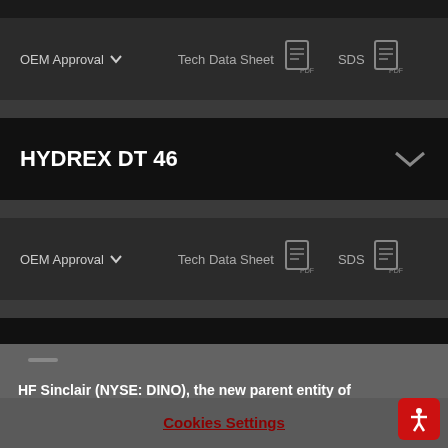OEM Approval  Tech Data Sheet  SDS
HYDREX DT 46
OEM Approval  Tech Data Sheet  SDS
Blue Hydraulic Oil Dye
HF Sinclair (NYSE: DINO), the new parent entity of HollyFrontier, has completed its acquisition of Sinclair Oil. As a subsidiary of HF Sinclair, we're in the process of updating our website to reflect this change.
Cookies Settings